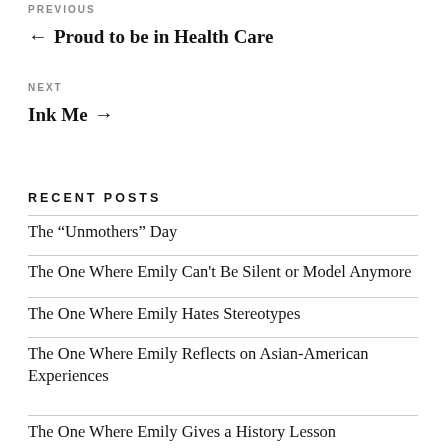PREVIOUS
← Proud to be in Health Care
NEXT
Ink Me →
RECENT POSTS
The “Unmothers” Day
The One Where Emily Can't Be Silent or Model Anymore
The One Where Emily Hates Stereotypes
The One Where Emily Reflects on Asian-American Experiences
The One Where Emily Gives a History Lesson